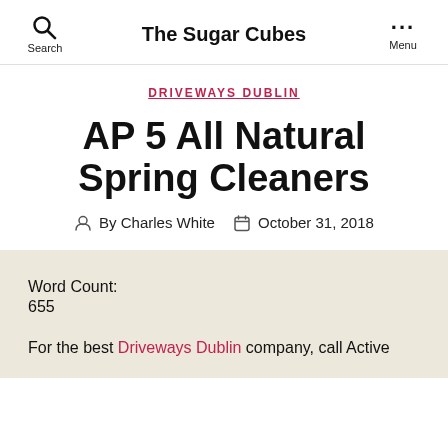The Sugar Cubes
DRIVEWAYS DUBLIN
AP 5 All Natural Spring Cleaners
By Charles White  October 31, 2018
Word Count:
655
For the best Driveways Dublin company, call Active